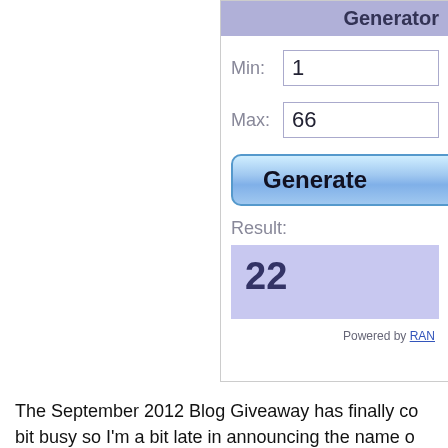[Figure (screenshot): A random number generator widget showing Min: 1, Max: 66, a Generate button, and Result: 22 displayed in a lavender box. Powered by RANDOM.ORG attribution at bottom right.]
The September 2012 Blog Giveaway has finally co... bit busy so I'm a bit late in announcing the name o... spending some time checking out the list of partic...